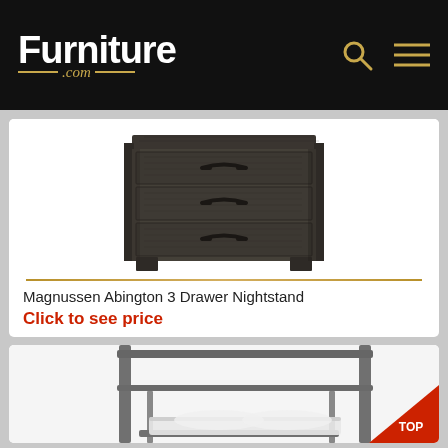[Figure (logo): Furniture.com logo in white and gold on black header bar with search and menu icons]
[Figure (photo): Magnussen Abington 3 Drawer Nightstand - dark wood grain dresser with three drawers and metal handles]
Magnussen Abington 3 Drawer Nightstand
Click to see price
[Figure (photo): Partial view of a metal canopy bed frame, dark gray/silver color, with a TOP navigation button in red in the lower right corner]